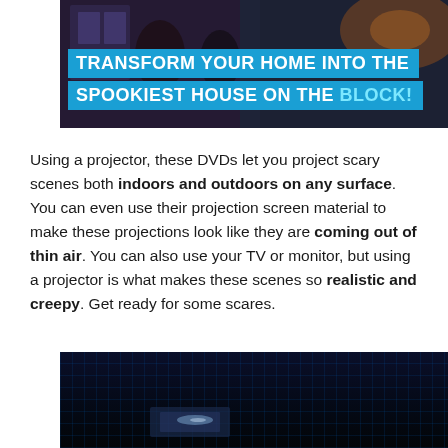[Figure (screenshot): TV screenshot showing Halloween projection scenes with a blue banner overlay reading TRANSFORM YOUR HOME INTO THE SPOOKIEST HOUSE ON THE BLOCK!]
Using a projector, these DVDs let you project scary scenes both indoors and outdoors on any surface. You can even use their projection screen material to make these projections look like they are coming out of thin air. You can also use your TV or monitor, but using a projector is what makes these scenes so realistic and creepy. Get ready for some scares.
[Figure (screenshot): Dark screenshot showing a dimly lit room with blue grid-patterned wall, bottom portion of a Halloween-themed scene]